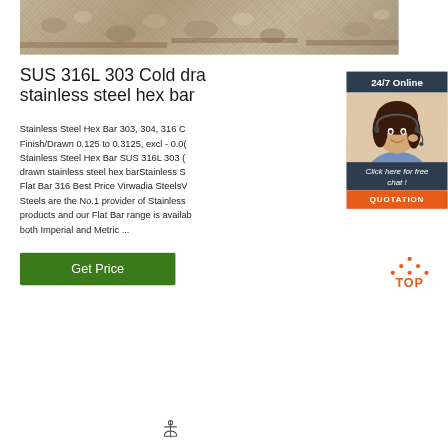[Figure (photo): Close-up photo of gravel or crushed stone aggregate material with wooden planks/rails visible]
SUS 316L 303 Cold drawn stainless steel hex bar
Stainless Steel Hex Bar 303, 304, 316 Cold Drawn Bright Finish/Drawn 0.125 to 0.3125, excl - 0.00... Stainless Steel Hex Bar SUS 316L 303 Cold drawn stainless steel hex barStainless Steel Flat Bar 316 Best Price Virwadia SteelsVirwadia Steels are the No.1 provider of Stainless Steel products and our Flat Bar range is available in both Imperial and Metric ...
[Figure (infographic): 24/7 Online customer service chat widget with agent photo, 'Click here for free chat!' text and QUOTATION orange button]
[Figure (infographic): TOP back-to-top orange button with decorative dots above the text TOP]